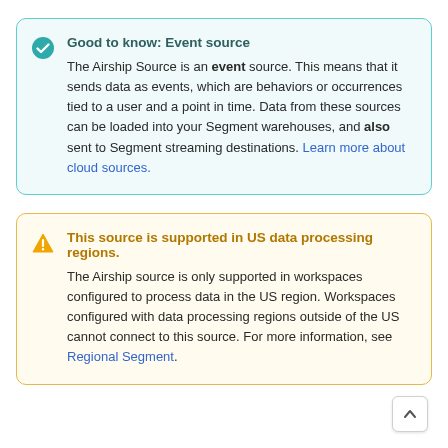Good to know: Event source. The Airship Source is an event source. This means that it sends data as events, which are behaviors or occurrences tied to a user and a point in time. Data from these sources can be loaded into your Segment warehouses, and also sent to Segment streaming destinations. Learn more about cloud sources.
This source is supported in US data processing regions. The Airship source is only supported in workspaces configured to process data in the US region. Workspaces configured with data processing regions outside of the US cannot connect to this source. For more information, see Regional Segment.